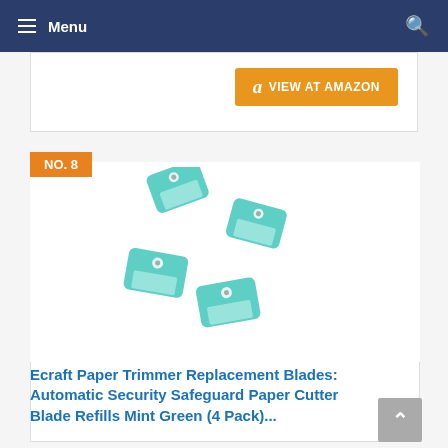Menu
[Figure (photo): Orange 'VIEW AT AMAZON' button with Amazon logo]
NO. 8
[Figure (photo): Four mint green paper trimmer replacement blade refills arranged in a scattered pattern on white background]
Ecraft Paper Trimmer Replacement Blades: Automatic Security Safeguard Paper Cutter Blade Refills Mint Green (4 Pack)...